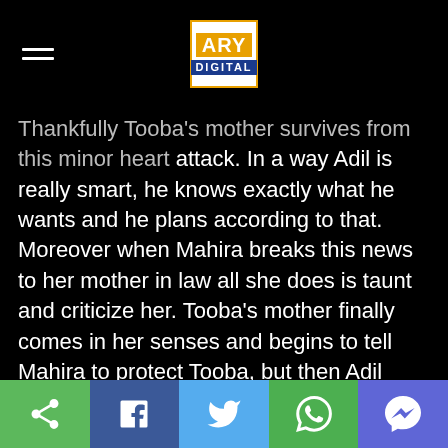ARY DIGITAL
Thankfully Tooba's mother survives from this minor heart attack. In a way Adil is really smart, he knows exactly what he wants and he plans according to that. Moreover when Mahira breaks this news to her mother in law all she does is taunt and criticize her. Tooba's mother finally comes in her senses and begins to tell Mahira to protect Tooba, but then Adil enters the room and that's when she goes quiet. Mahira is forced to go home with her in laws and leave her sick mother behind.
Adil later blackmails Tooba that he will kill her mother if she won't marry him, Tooba's mother sees how evil Adil is and she now is the only witness of that. Tooba agrees to marry
Share | Facebook | Twitter | WhatsApp | Messenger